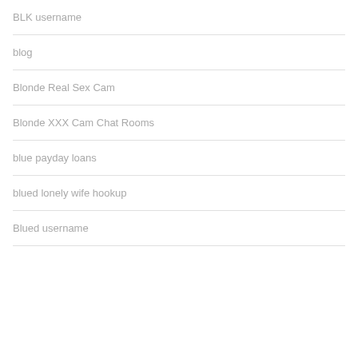BLK username
blog
Blonde Real Sex Cam
Blonde XXX Cam Chat Rooms
blue payday loans
blued lonely wife hookup
Blued username